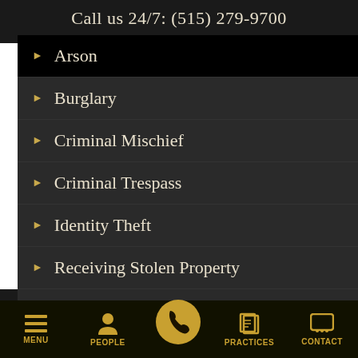Call us 24/7: (515) 279-9700
Arson
Burglary
Criminal Mischief
Criminal Trespass
Identity Theft
Receiving Stolen Property
Robbery
MENU  PEOPLE  [phone]  PRACTICES  CONTACT